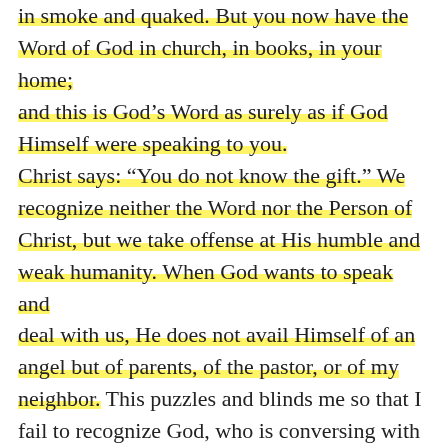in smoke and quaked. But you now have the Word of God in church, in books, in your home; and this is God's Word as surely as if God Himself were speaking to you.
Christ says: “You do not know the gift.” We recognize neither the Word nor the Person of Christ, but we take offense at His humble and weak humanity. When God wants to speak and deal with us, He does not avail Himself of an angel but of parents, of the pastor, or of my neighbor. This puzzles and blinds me so that I fail to recognize God, who is conversing with me through the person of the pastor or father. This prompts the Lord Christ to say in the text: “If you knew the gift of God, and who it is that is